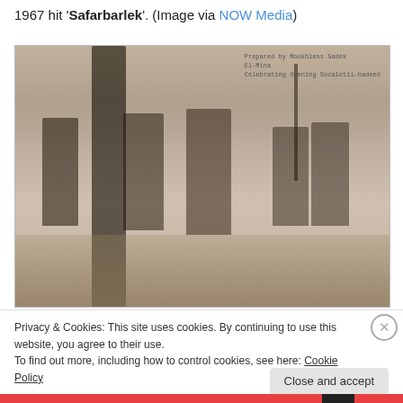1967 hit 'Safarbarlek'. (Image via NOW Media)
[Figure (photo): A sepia-toned historical black-and-white photograph showing several people standing outdoors, likely at a waterfront or open area. An inscription in the upper right reads: 'Prepared by Moukhless Sadek / El-Mina / Celebrating Opening Socaletii-hadeed'. A tree or vine structure is visible on the left side, and a flagpole stands in the background right.]
Privacy & Cookies: This site uses cookies. By continuing to use this website, you agree to their use.
To find out more, including how to control cookies, see here: Cookie Policy